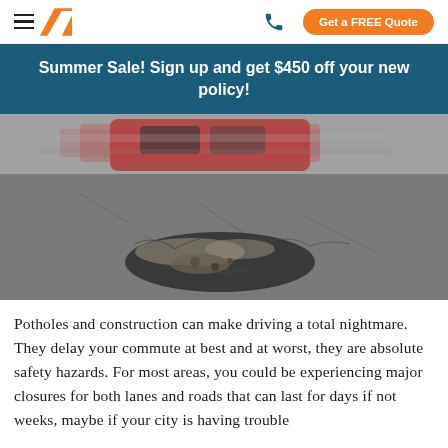Get a FREE Quote
Summer Sale! Sign up and get $450 off your new policy!
[Figure (photo): Close-up photo of a large pothole in cracked asphalt road with a blurred car passing in the background]
Potholes and construction can make driving a total nightmare. They delay your commute at best and at worst, they are absolute safety hazards. For most areas, you could be experiencing major closures for both lanes and roads that can last for days if not weeks, maybe if your city is having trouble